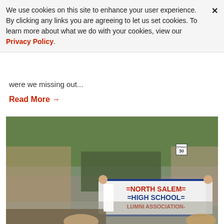We use cookies on this site to enhance your user experience. By clicking any links you are agreeing to let us set cookies. To learn more about what we do with your cookies, view our Privacy Policy.
were we missing out...
Read More →
[Figure (photo): Outdoor parade scene showing people marching down a street lined with spectators. In the foreground, participants carry a large banner reading '=NORTH SALEM= =HIGH SCHOOL= LUMNI ASSOCIATION-'. Trees and houses are visible in the background, along with a speed limit 30 sign.]